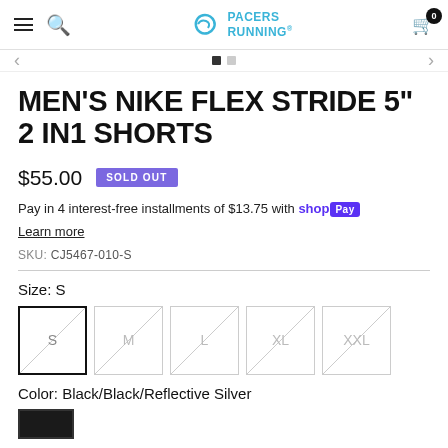Pacers Running — navigation bar with menu, search, logo, cart (0)
MEN'S NIKE FLEX STRIDE 5" 2 IN1 SHORTS
$55.00  SOLD OUT
Pay in 4 interest-free installments of $13.75 with shop Pay
Learn more
SKU: CJ5467-010-S
Size: S
Color: Black/Black/Reflective Silver